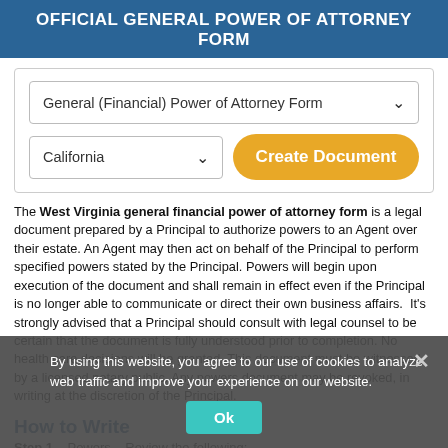OFFICIAL GENERAL POWER OF ATTORNEY FORM
[Figure (screenshot): Form UI with dropdown showing 'General (Financial) Power of Attorney Form', a second dropdown showing 'California', and an orange 'Create Document' button]
The West Virginia general financial power of attorney form is a legal document prepared by a Principal to authorize powers to an Agent over their estate. An Agent may then act on behalf of the Principal to perform specified powers stated by the Principal. Powers will begin upon execution of the document and shall remain in effect even if the Principal is no longer able to communicate or direct their own business affairs.  It's strongly advised that a Principal should consult with legal counsel to be certain that the document is fully understood prior to completion. No health care decisions will be granted. This document must be witnessed by a licensed notary public. Any powers document may be revoked, in writing at the discretion of the Principal.
How to Write
Step 1 – Powers – Review the following:
By using this website, you agree to our use of cookies to analyze web traffic and improve your experience on our website.